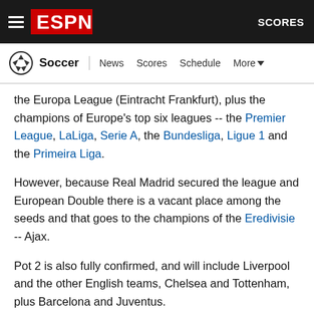ESPN – Soccer | News Scores Schedule More | SCORES
the Europa League (Eintracht Frankfurt), plus the champions of Europe's top six leagues -- the Premier League, LaLiga, Serie A, the Bundesliga, Ligue 1 and the Primeira Liga.
However, because Real Madrid secured the league and European Double there is a vacant place among the seeds and that goes to the champions of the Eredivisie -- Ajax.
Pot 2 is also fully confirmed, and will include Liverpool and the other English teams, Chelsea and Tottenham, plus Barcelona and Juventus.
Pots 2 through to 4 are ordered on UEFA coefficient, which measures results and performance in Europe over a five-year period.